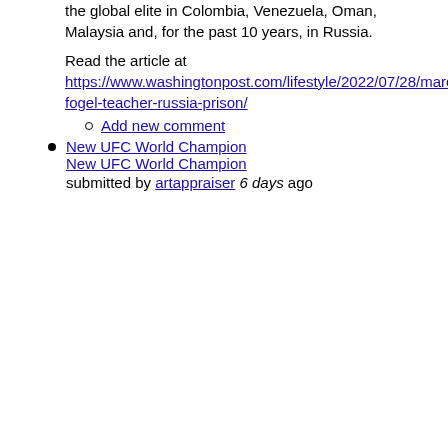the global elite in Colombia, Venezuela, Oman, Malaysia and, for the past 10 years, in Russia.
Read the article at https://www.washingtonpost.com/lifestyle/2022/07/28/marc-fogel-teacher-russia-prison/
Add new comment
New UFC World Champion
New UFC World Champion
submitted by artappraiser 6 days ago